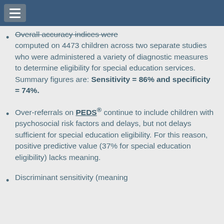Overall accuracy indices were computed on 4473 children across two separate studies who were administered a variety of diagnostic measures to determine eligibility for special education services. Summary figures are: Sensitivity = 86% and specificity = 74%.
Over-referrals on PEDS® continue to include children with psychosocial risk factors and delays, but not delays sufficient for special education eligibility. For this reason, positive predictive value (37% for special education eligibility) lacks meaning.
Discriminant sensitivity (meaning